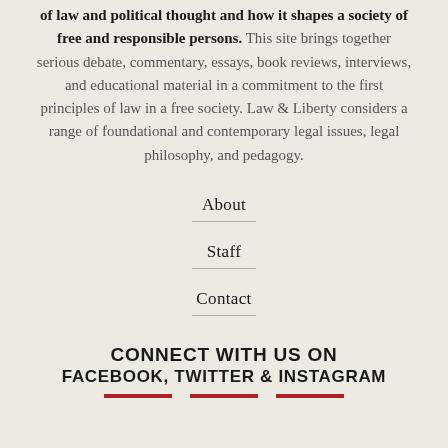of law and political thought and how it shapes a society of free and responsible persons. This site brings together serious debate, commentary, essays, book reviews, interviews, and educational material in a commitment to the first principles of law in a free society. Law & Liberty considers a range of foundational and contemporary legal issues, legal philosophy, and pedagogy.
About
Staff
Contact
CONNECT WITH US ON FACEBOOK, TWITTER & INSTAGRAM